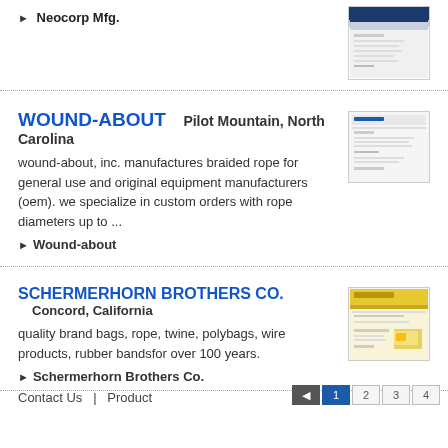Neocorp Mfg.
[Figure (screenshot): Thumbnail screenshot of Neocorp Mfg. website]
WOUND-ABOUT   Pilot Mountain, North Carolina
wound-about, inc. manufactures braided rope for general use and original equipment manufacturers (oem). we specialize in custom orders with rope diameters up to ...
Wound-about
[Figure (screenshot): Thumbnail screenshot of Wound-about website]
SCHERMERHORN BROTHERS CO.   Concord, California
quality brand bags, rope, twine, polybags, wire products, rubber bandsfor over 100 years.
Schermerhorn Brothers Co.
Contact Us   |   Product
[Figure (screenshot): Thumbnail screenshot of Schermerhorn Brothers Co. website]